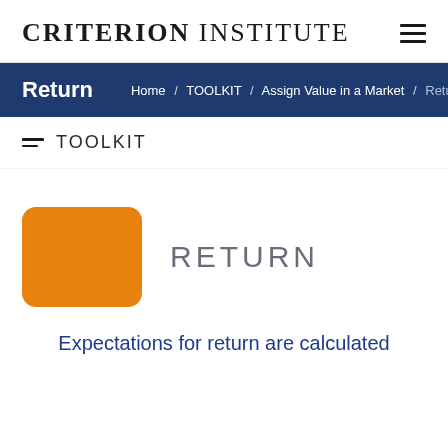CRITERION INSTITUTE
Return
Home / TOOLKIT / Assign Value in a Market / Return
TOOLKIT
[Figure (illustration): Orange rounded rectangle box used as a decorative icon for the Return section]
RETURN
Expectations for return are calculated